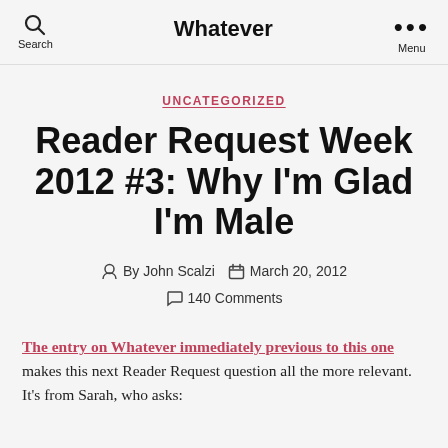Whatever
UNCATEGORIZED
Reader Request Week 2012 #3: Why I'm Glad I'm Male
By John Scalzi   March 20, 2012   140 Comments
The entry on Whatever immediately previous to this one makes this next Reader Request question all the more relevant. It's from Sarah, who asks: